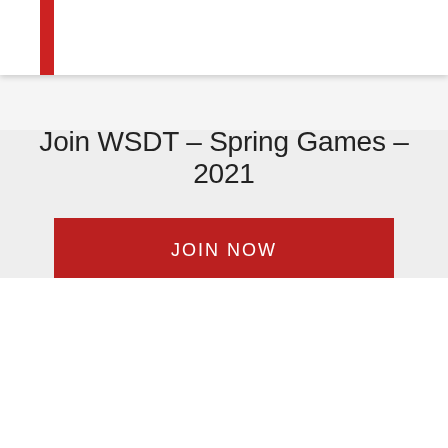Join WSDT – Spring Games – 2021
JOIN NOW